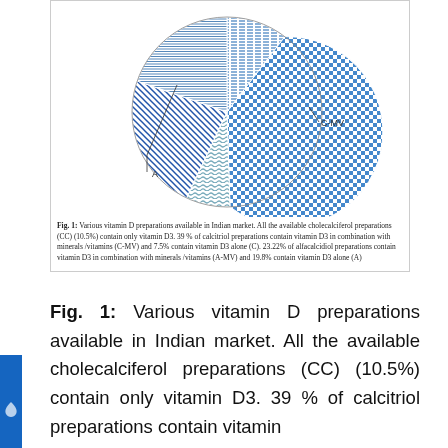[Figure (pie-chart): Various vitamin D preparations available in Indian market]
Fig. 1: Various vitamin D preparations available in Indian market. All the available cholecalciferol preparations (CC) (10.5%) contain only vitamin D3. 39 % of calcitriol preparations contain vitamin D3 in combination with minerals /vitamins (C-MV) and 7.5% contain vitamin D3 alone (C). 23.22% of alfacalcidiol preparations contain vitamin D3 in combination with minerals /vitamins (A-MV) and 19.8% contain vitamin D3 alone (A)
Fig. 1: Various vitamin D preparations available in Indian market. All the available cholecalciferol preparations (CC) (10.5%) contain only vitamin D3. 39 % of calcitriol preparations contain vitamin D3 in combination with minerals /vitamins (C-MV) and 7.5% contain vitamin D3 alone (C). 23.22% of alfacalcidiol preparations contain vitamin D3 in combination with minerals /vitamins (A-MV) and 19.8% contain vitamin D3 alone (A)